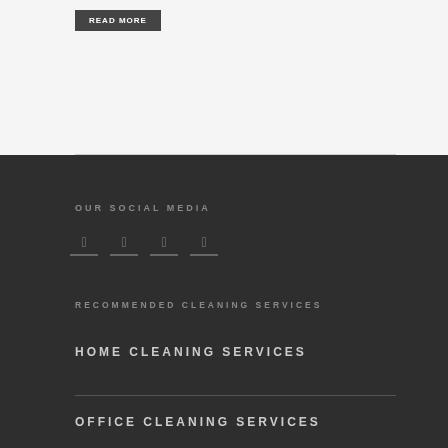Read More
OUR SOCIAL MEDIA
[Figure (infographic): Social media icons: Facebook, Twitter, Pinterest, Google+]
RECOMMENDED CLEANING SERVICES
HOME CLEANING SERVICES
OFFICE CLEANING SERVICES